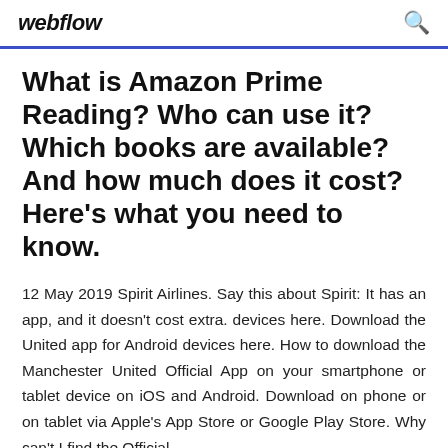webflow
What is Amazon Prime Reading? Who can use it? Which books are available? And how much does it cost? Here's what you need to know.
12 May 2019 Spirit Airlines. Say this about Spirit: It has an app, and it doesn't cost extra. devices here. Download the United app for Android devices here. How to download the Manchester United Official App on your smartphone or tablet device on iOS and Android. Download on phone or on tablet via Apple's App Store or Google Play Store. Why can't I find the Official